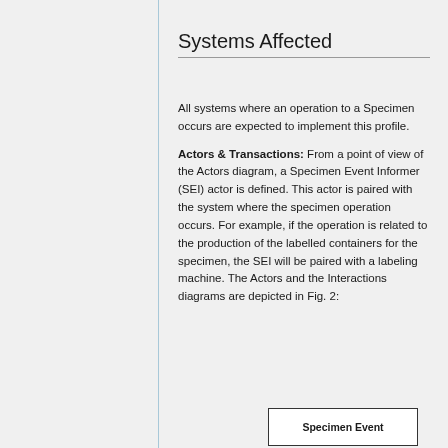Systems Affected
All systems where an operation to a Specimen occurs are expected to implement this profile.
Actors & Transactions: From a point of view of the Actors diagram, a Specimen Event Informer (SEI) actor is defined. This actor is paired with the system where the specimen operation occurs. For example, if the operation is related to the production of the labelled containers for the specimen, the SEI will be paired with a labeling machine. The Actors and the Interactions diagrams are depicted in Fig. 2:
[Figure (other): Box labeled 'Specimen Event' representing part of a diagram figure]